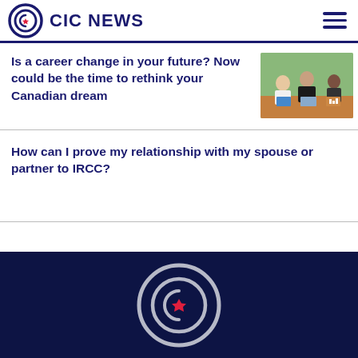CIC NEWS
Is a career change in your future? Now could be the time to rethink your Canadian dream
[Figure (photo): Three professionals in a modern office setting, looking at laptops and tablets]
How can I prove my relationship with my spouse or partner to IRCC?
[Figure (logo): CIC News logo in white on dark navy background — circular icon with maple leaf]